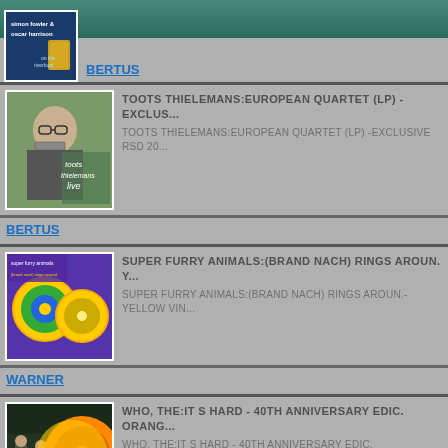[Figure (illustration): Partial top section showing album cover for Simon Fowler & Oscar Harrison with blue background]
BERTUS
[Figure (photo): Album cover for Toots Thielemans: European Quartet Live, showing a man playing harmonica]
TOOTS THIELEMANS:EUROPEAN QUARTET (LP) -EXCLUS...
TOOTS THIELEMANS:EUROPEAN QUARTET (LP) -EXCLUSIVE RSD 20...
BERTUS
[Figure (illustration): Album cover for Super Furry Animals: (Brand Nach) Rings Around showing colorful record artwork with yellow vinyl]
SUPER FURRY ANIMALS:(BRAND NACH) RINGS AROUN. Y...
SUPER FURRY ANIMALS:(BRAND NACH) RINGS AROUN.-YELLOW VIN...
WARNER
[Figure (illustration): Album cover for Who, The: It's Hard 40th Anniversary Edition orange/yellow vinyl]
WHO, THE:IT S HARD - 40TH ANNIVERSARY EDIC. ORANG...
WHO, THE:IT S HARD - 40TH ANNIVERSARY EDIC. ORANGE/YELLOW2...